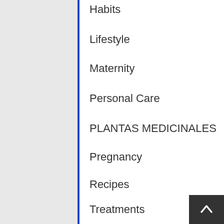Habits
Lifestyle
Maternity
Personal Care
PLANTAS MEDICINALES
Pregnancy
Recipes
Treatments
How To
Insurance
Internet